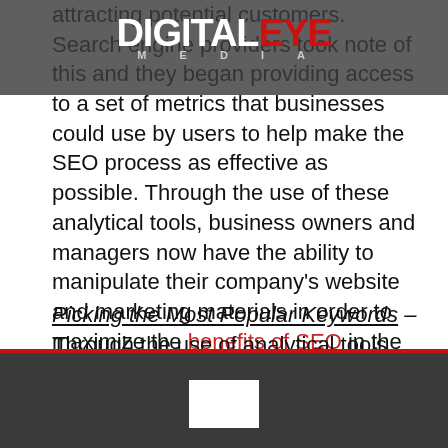[Figure (logo): DigitalEYE Media logo — white 'Digital' and red 'EYE' in large bold text, with 'MEDIA' in small caps below, overlaid on a dark grey banner]
attracting potential customers. Search engine providers took note of this and they began providing access to a set of metrics that businesses could use by users to help make the SEO process as effective as possible. Through the use of these analytical tools, business owners and managers now have the ability to manipulate their company's website and marketing materials in order to maximize the benefits of SEO in the following ways.
Picking the Most Popular Keywords – Through the use of analytical tools such as Google Adwords Keyword Tool and Google Trends, you as a business owner/manager are able to identify which keywords and keyword phrases that have been statistically popular with users in the recent past.
[Figure (other): Dark grey footer bar with red top border and a white rectangle centered near the bottom]